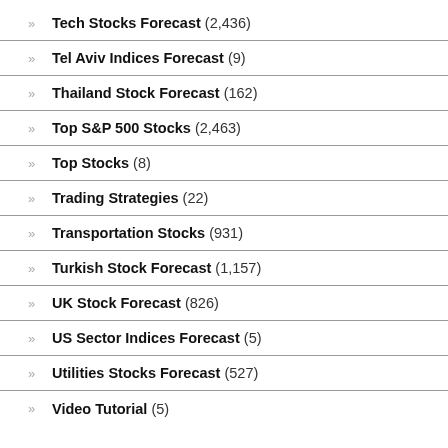Tech Stocks Forecast (2,436)
Tel Aviv Indices Forecast (9)
Thailand Stock Forecast (162)
Top S&P 500 Stocks (2,463)
Top Stocks (8)
Trading Strategies (22)
Transportation Stocks (931)
Turkish Stock Forecast (1,157)
UK Stock Forecast (826)
US Sector Indices Forecast (5)
Utilities Stocks Forecast (527)
Video Tutorial (5)